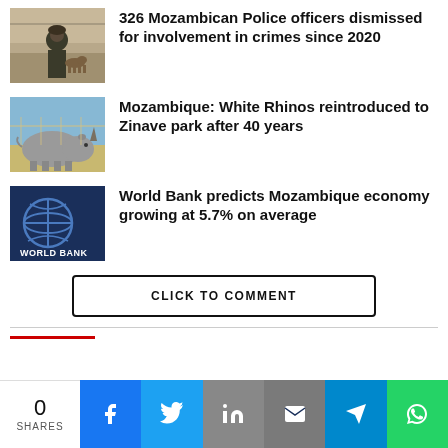326 Mozambican Police officers dismissed for involvement in crimes since 2020
[Figure (photo): Police officer with dog in dusty outdoor area]
Mozambique: White Rhinos reintroduced to Zinave park after 40 years
[Figure (photo): White rhino in an enclosure or park]
World Bank predicts Mozambique economy growing at 5.7% on average
[Figure (photo): World Bank logo on a surface]
CLICK TO COMMENT
0 SHARES